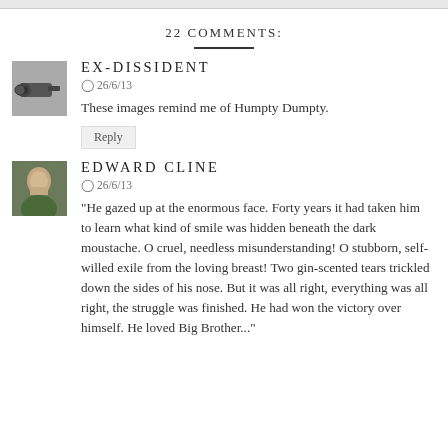22 COMMENTS:
[Figure (photo): Avatar image of a cannon or wheel-like object in grayscale]
EX-DISSIDENT
26/6/13
These images remind me of Humpty Dumpty.
Reply
[Figure (photo): Avatar image of a person (Edward Cline) in green shirt]
EDWARD CLINE
26/6/13
"He gazed up at the enormous face. Forty years it had taken him to learn what kind of smile was hidden beneath the dark moustache. O cruel, needless misunderstanding! O stubborn, self-willed exile from the loving breast! Two gin-scented tears trickled down the sides of his nose. But it was all right, everything was all right, the struggle was finished. He had won the victory over himself. He loved Big Brother..."